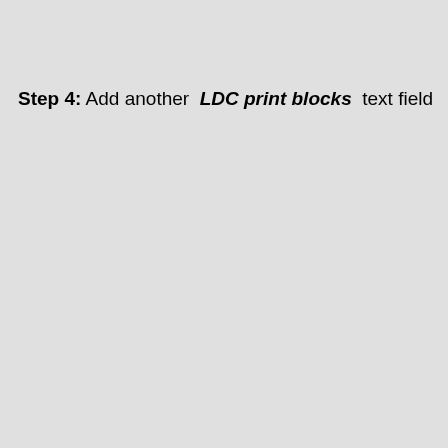Step 4: Add another  LDC print blocks  text field